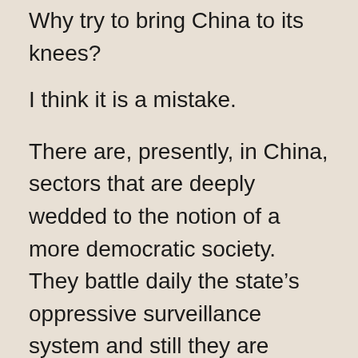Why try to bring China to its knees?
I think it is a mistake.
There are, presently, in China, sectors that are deeply wedded to the notion of a more democratic society. They battle daily the state’s oppressive surveillance system and still they are growing.
It will take more time for these resistance sectors to eventually make their presence felt in the existing power structure, but one day they will. Any effort on our part to “beat” China economically, is likely to increase political